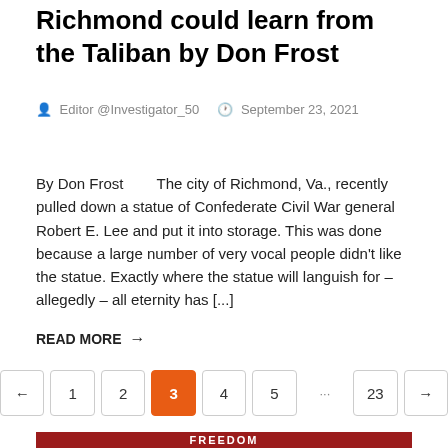Richmond could learn from the Taliban by Don Frost
Editor @Investigator_50   September 23, 2021
By Don Frost        The city of Richmond, Va., recently pulled down a statue of Confederate Civil War general Robert E. Lee and put it into storage. This was done because a large number of very vocal people didn't like the statue. Exactly where the statue will languish for – allegedly – all eternity has [...]
READ MORE →
[Figure (infographic): Pagination bar with buttons: left arrow, 1, 2, 3 (current/active in orange), 4, 5, ..., 23, right arrow]
[Figure (photo): Red banner image with white bold text reading FREEDOM and partial text vs below it]